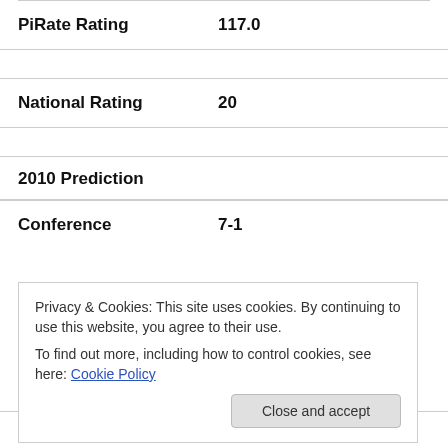PiRate Rating    117.0
National Rating    20
2010 Prediction
Conference    7-1
Privacy & Cookies: This site uses cookies. By continuing to use this website, you agree to their use.
To find out more, including how to control cookies, see here: Cookie Policy
Strengths:    Quarterback, Running Back,